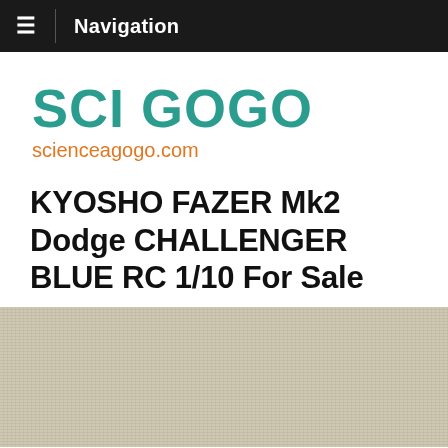≡  Navigation
[Figure (logo): SCI GOGO logo with site URL scienceagogo.com. 'SCI GOGO' in large teal bold text, 'scienceagogo.com' in orange below.]
KYOSHO FAZER Mk2 Dodge CHALLENGER BLUE RC 1/10 For Sale
[Figure (photo): Partial photo showing a beige/cream linen textured fabric or surface background.]